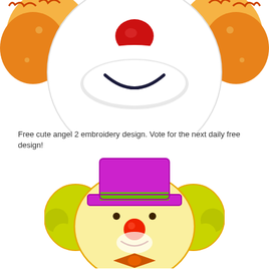[Figure (illustration): Top portion of a clown face embroidery design showing orange curly hair on sides, white face, red nose, and dark smile mouth, cropped at top]
Free cute angel 2 embroidery design. Vote for the next daily free design!
[Figure (illustration): Cute clown face embroidery design with yellow-green curly hair, purple top hat with green band, light yellow face, red round nose, small brown eyes, smile, and orange bow tie at the bottom]